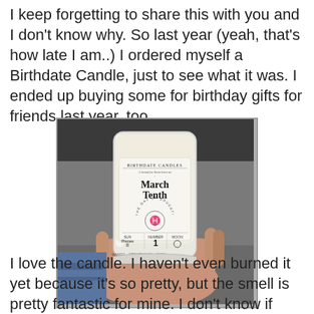I keep forgetting to share this with you and I don't know why. So last year (yeah, that's how late I am..) I ordered myself a Birthdate Candle, just to see what it was. I ended up buying some for birthday gifts for friends last year, too.
[Figure (photo): A hand holding a clear glass jar candle with a white label reading 'BIRTHDATE CANDLES - March Tenth - The Day of Education' with astrological and numerology symbols on the label.]
I love the candle. I haven't even burned it yet because it's so pretty, but the smell is pretty fantastic for mine. I don't know if